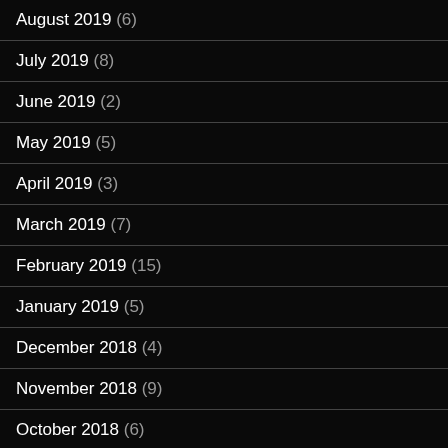August 2019 (6)
July 2019 (8)
June 2019 (2)
May 2019 (5)
April 2019 (3)
March 2019 (7)
February 2019 (15)
January 2019 (5)
December 2018 (4)
November 2018 (9)
October 2018 (6)
September 2018 (14)
August 2018 (2)